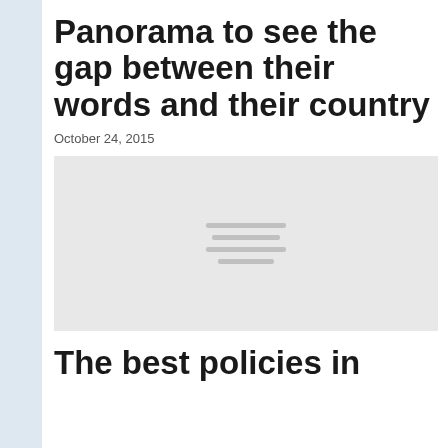Panorama to see the gap between their words and their country
October 24, 2015
[Figure (other): Placeholder image with loading indicator lines, light gray background]
The best policies in